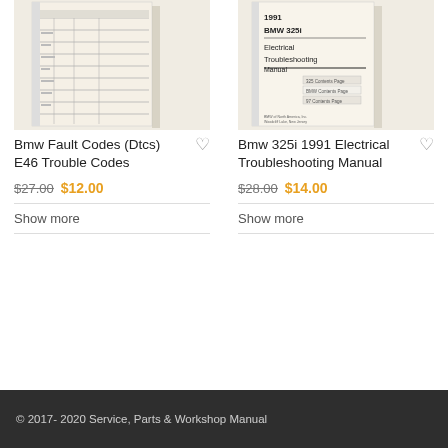[Figure (photo): Book cover thumbnail of BMW Fault Codes (DTCs) E46 Trouble Codes manual showing table of fault codes]
[Figure (photo): Book cover thumbnail of BMW 325i 1991 Electrical Troubleshooting Manual]
Bmw Fault Codes (Dtcs) E46 Trouble Codes
$27.00 $12.00
Show more
Bmw 325i 1991 Electrical Troubleshooting Manual
$28.00 $14.00
Show more
© 2017- 2020 Service, Parts & Workshop Manual